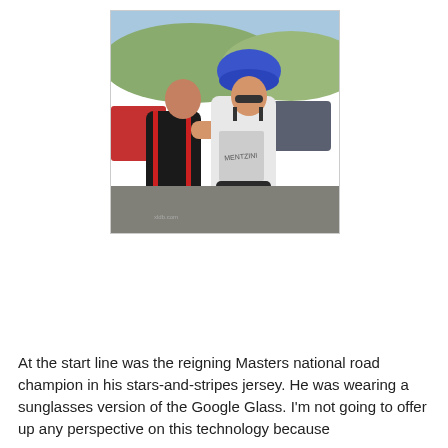[Figure (photo): Two cyclists hugging at what appears to be a race start line. One wears a blue helmet and a white stars-and-stripes jersey (Masters national road champion), the other wears a red/black cycling kit. Cars and hills are visible in the background.]
At the start line was the reigning Masters national road champion in his stars-and-stripes jersey.  He was wearing a sunglasses version of the Google Glass.  I'm not going to offer up any perspective on this technology because